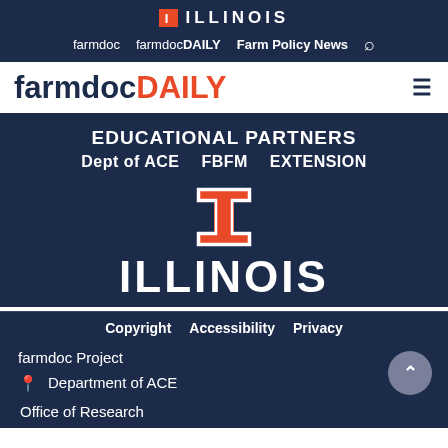I ILLINOIS
farmdoc  farmdocDAILY  Farm Policy News
farmdocDAILY
EDUCATIONAL PARTNERS
Dept of ACE   FBFM   EXTENSION
[Figure (logo): University of Illinois Block I logo in orange and white, with ILLINOIS wordmark below in white on dark navy background]
Copyright   Accessibility   Privacy
farmdoc Project
Department of ACE
Office of Research